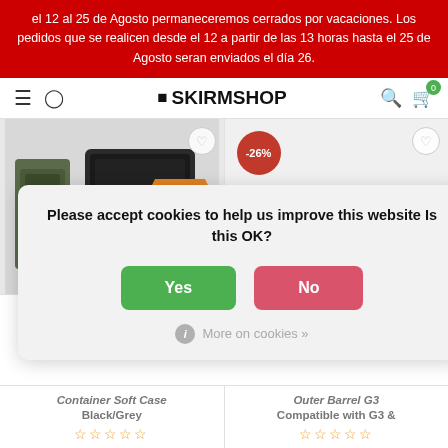el 12 al 25 de Agosto permaneceremos cerrados por vacaciones. Los pedidos que se realicen desde el 12 a partir de las 13 horas hasta el 25 de Agosto seran enviados el día 26.
SKIRMSHOP
[Figure (screenshot): Product card 1: Backpack/gear bag product image with 'TRANSFORM' badge]
[Figure (screenshot): Product card 2: Outer barrel component with -26% discount badge]
Please accept cookies to help us improve this website Is this OK?
Yes
No
More on cookies »
Container Soft Case Black/Grey
Outer Barrel G3 Compatible with G3 &
☆☆☆☆☆
☆☆☆☆☆